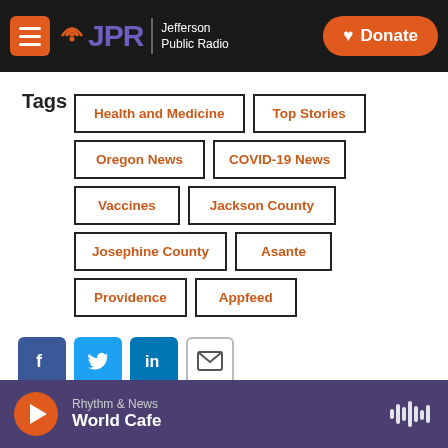JPR Jefferson Public Radio | Donate
Tags
Health and Medicine
Top Stories
Oregon News
COVID-19 News
Vaccines
Jackson County
Josephine County
Asante
Providence
Appfeed
[Figure (other): Social share buttons: Facebook, Twitter, LinkedIn, Email]
Rhythm & News — World Cafe